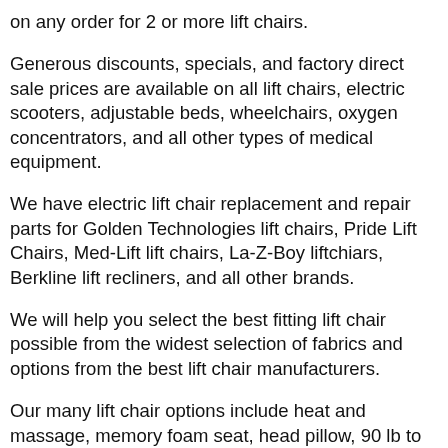on any order for 2 or more lift chairs.
Generous discounts, specials, and factory direct sale prices are available on all lift chairs, electric scooters, adjustable beds, wheelchairs, oxygen concentrators, and all other types of medical equipment.
We have electric lift chair replacement and repair parts for Golden Technologies lift chairs, Pride Lift Chairs, Med-Lift lift chairs, La-Z-Boy liftchiars, Berkline lift recliners, and all other brands.
We will help you select the best fitting lift chair possible from the widest selection of fabrics and options from the best lift chair manufacturers.
Our many lift chair options include heat and massage, memory foam seat, head pillow, 90 lb to 700 lb capacity, lift chairs for persons 4'8" to 6'8", 3.5" leg rest extension, extra pockets, left side controls, full top grain leather on every part of lift chair, full sleeper / lay flat, zero gravity, elevate feet above heart, straight up vertical lift, short seat, reversible seats, tall backs, infrared heat, fabric guard, side tray tables, under arm